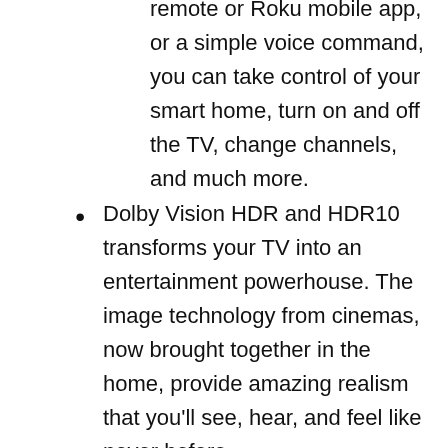remote or Roku mobile app, or a simple voice command, you can take control of your smart home, turn on and off the TV, change channels, and much more.
Dolby Vision HDR and HDR10 transforms your TV into an entertainment powerhouse. The image technology from cinemas, now brought together in the home, provide amazing realism that you'll see, hear, and feel like never before.
Motion Rate 120 image processing technology allows you to enjoy fast-paced sports, movies, and 4K gaming